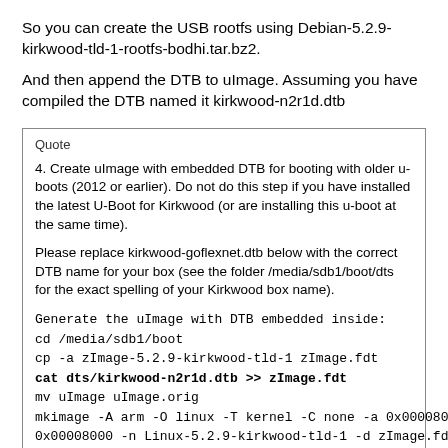So you can create the USB rootfs using Debian-5.2.9-kirkwood-tld-1-rootfs-bodhi.tar.bz2.
And then append the DTB to uImage. Assuming you have compiled the DTB named it kirkwood-n2r1d.dtb
Quote

4. Create uImage with embedded DTB for booting with older u-boots (2012 or earlier). Do not do this step if you have installed the latest U-Boot for Kirkwood (or are installing this u-boot at the same time).

Please replace kirkwood-goflexnet.dtb below with the correct DTB name for your box (see the folder /media/sdb1/boot/dts for the exact spelling of your Kirkwood box name).

Generate the uImage with DTB embedded inside:
cd /media/sdb1/boot
cp -a zImage-5.2.9-kirkwood-tld-1 zImage.fdt
cat dts/kirkwood-n2r1d.dtb >> zImage.fdt
mv uImage uImage.orig
mkimage -A arm -O linux -T kernel -C none -a 0x00008000 -e 0x00008000 -n Linux-5.2.9-kirkwood-tld-1 -d zImage.fdt uImage
sync